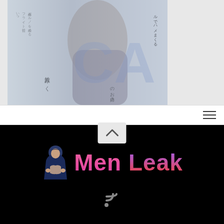[Figure (photo): Partial view of a Japanese adult content DVD cover showing a person in dark pantyhose, with large blue 'CA' text overlay and Japanese text including the name 鈴原みく]
[Figure (screenshot): Navigation bar with hamburger menu icon (three horizontal lines) on white background]
[Figure (other): Scroll-up button with upward chevron arrow on light gray rounded rectangle background]
[Figure (logo): Men Leak website logo on black background: hooded muscular figure icon followed by 'Men Leak' text in pink-to-purple gradient, with RSS feed icon below]